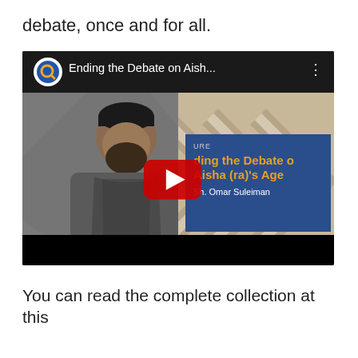debate, once and for all.
[Figure (screenshot): YouTube video thumbnail showing a man with a beard and black kufi speaking at a microphone, with a blue overlay card showing text 'Ending the Debate on Aisha (ra)'s Age' and 'Sh. Omar Suleiman'. The video title bar reads 'Ending the Debate on Aish...' with a YouTube play button overlay.]
You can read the complete collection at this